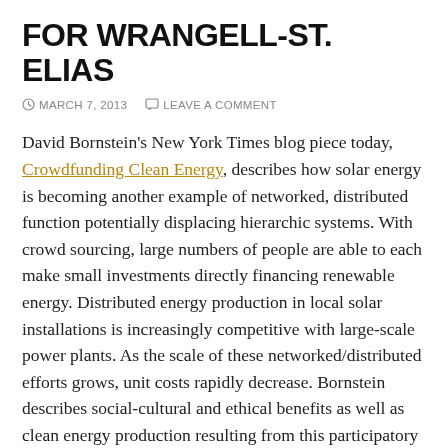FOR WRANGELL-ST. ELIAS
MARCH 7, 2013   LEAVE A COMMENT
David Bornstein's New York Times blog piece today, Crowdfunding Clean Energy, describes how solar energy is becoming another example of networked, distributed function potentially displacing hierarchic systems. With crowd sourcing, large numbers of people are able to each make small investments directly financing renewable energy. Distributed energy production in local solar installations is increasingly competitive with large-scale power plants. As the scale of these networked/distributed efforts grows, unit costs rapidly decrease. Bornstein describes social-cultural and ethical benefits as well as clean energy production resulting from this participatory system. While it can self-sustain and grow once launched, creative and assertive initiatives are required to get it going.